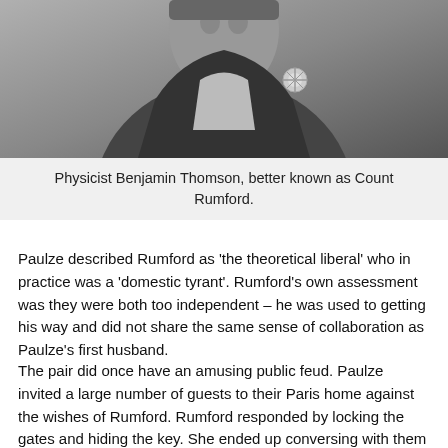[Figure (photo): Black and white engraved portrait photograph of Physicist Benjamin Thomson, better known as Count Rumford, shown from chest up wearing a decorated coat with a flower/medal emblem.]
Physicist Benjamin Thomson, better known as Count Rumford.
Paulze described Rumford as ‘the theoretical liberal’ who in practice was a ‘domestic tyrant’. Rumford’s own assessment was they were both too independent – he was used to getting his way and did not share the same sense of collaboration as Paulze’s first husband.
The pair did once have an amusing public feud. Paulze invited a large number of guests to their Paris home against the wishes of Rumford. Rumford responded by locking the gates and hiding the key. She ended up conversing with them through the gates, and in retaliation pouring boiling water on Rumford’s prized flowers.